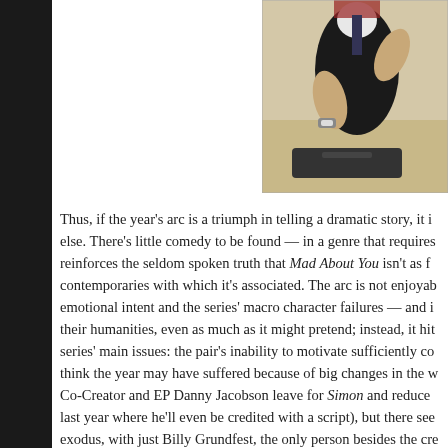[Figure (photo): A person wearing a dark vest and white shirt, with arms crossed or gesturing, sitting at a desk. A watch is visible on their wrist. A dark object (possibly a laptop or book) is on the desk in front of them.]
Thus, if the year's arc is a triumph in telling a dramatic story, it is little else. There's little comedy to be found — in a genre that requires reinforces the seldom spoken truth that Mad About You isn't as f contemporaries with which it's associated. The arc is not enjoya emotional intent and the series' macro character failures — and i their humanities, even as much as it might pretend; instead, it hi series' main issues: the pair's inability to motivate sufficiently co think the year may have suffered because of big changes in the w Co-Creator and EP Danny Jacobson leave for Simon and reduce last year where he'll even be credited with a script), but there see exodus, with just Billy Grundfest, the only person besides the cr since Season One, future showrunner Victor Levin, who came ab